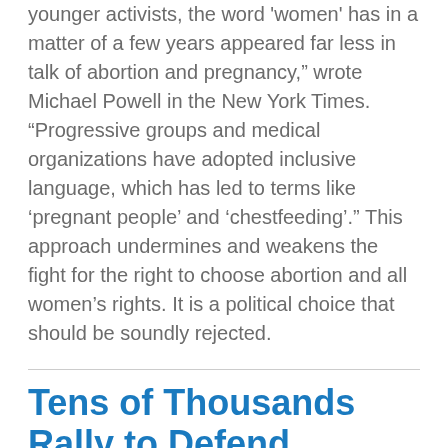younger activists, the word 'women' has in a matter of a few years appeared far less in talk of abortion and pregnancy," wrote Michael Powell in the New York Times. "Progressive groups and medical organizations have adopted inclusive language, which has led to terms like 'pregnant people' and 'chestfeeding'." This approach undermines and weakens the fight for the right to choose abortion and all women's rights. It is a political choice that should be soundly rejected.
Tens of Thousands Rally to Defend